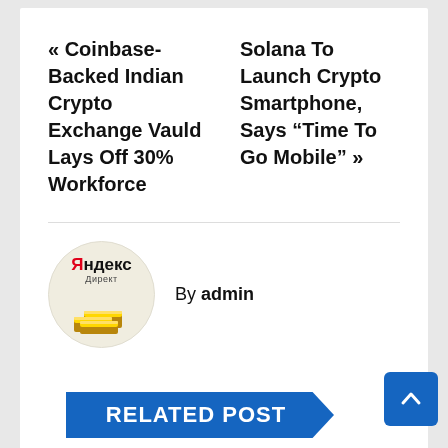« Coinbase-Backed Indian Crypto Exchange Vauld Lays Off 30% Workforce
Solana To Launch Crypto Smartphone, Says “Time To Go Mobile” »
By admin
[Figure (logo): Yandex Direct ad logo with gold bars image]
RELATED POST